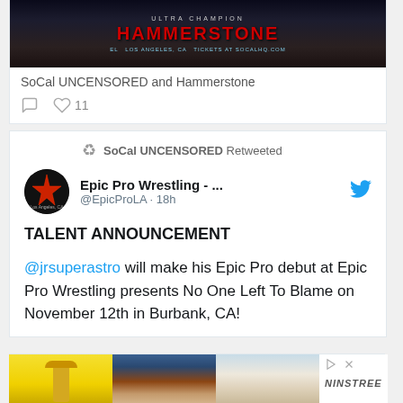[Figure (screenshot): Banner image for Hammerstone wrestling event with dark background and red title text]
SoCal UNCENSORED and Hammerstone
❤ 11
SoCal UNCENSORED Retweeted
Epic Pro Wrestling - ... @EpicProLA · 18h
TALENT ANNOUNCEMENT
@jrsuperastro will make his Epic Pro debut at Epic Pro Wrestling presents No One Left To Blame on November 12th in Burbank, CA!
[Figure (photo): Advertisement showing three shoe images with -18% discount badge and NINSTREE brand label]